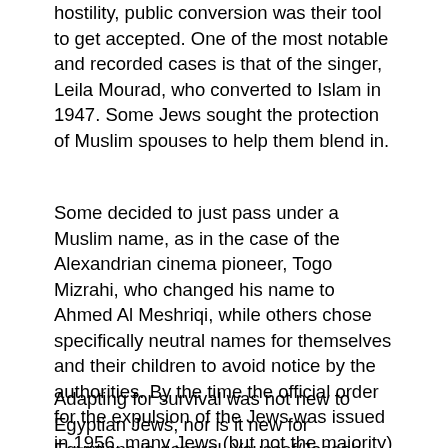hostility, public conversion was their tool to get accepted. One of the most notable and recorded cases is that of the singer, Leila Mourad, who converted to Islam in 1947. Some Jews sought the protection of Muslim spouses to help them blend in.
Some decided to just pass under a Muslim name, as in the case of the Alexandrian cinema pioneer, Togo Mizrahi, who changed his name to Ahmed Al Meshriqi, while others chose specifically neutral names for themselves and their children to avoid notice by the authorities. By the time the official order for the expulsion of the Jews was issued in 1956, many Jews (but not the majority) had converted, at least in principle, and/or intermarried with Muslims, and were not affected directly by the Second Exodus.
Adapting for survival was not new to Egyptian Jews, nor is it new for Egyptians in general. Youssef/Joseph, the keeper of the granaries, went by a non-Hebrew name when he got to public office. Furthermore, and in the case of